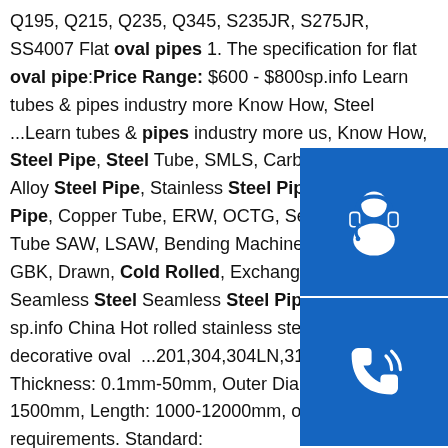Q195, Q215, Q235, Q345, S235JR, S275JR, SS4007 Flat oval pipes 1. The specification for flat oval pipe:Price Range: $600 - $800sp.info Learn tubes & pipes industry more Know How, Steel ...Learn tubes & pipes industry more us, Know How, Steel Pipe, Steel Tube, SMLS, Carbon Steel Pipe, Alloy Steel Pipe, Stainless Steel Pipe, Alloy Tube Pipe, Copper Tube, ERW, OCTG, Seamlss Steel Tube SAW, LSAW, Bending Machine, Furnace, NBK, GBK, Drawn, Cold Rolled, Exchanger Tube, Seamless Steel Seamless Steel Pipe, Welded …sp.info China Hot rolled stainless steel pipe decorative oval ...201,304,304LN,316,316N,430,etc. Thickness: 0.1mm-50mm, Outer Diameter: 10mm-1500mm, Length: 1000-12000mm, or as your requirements. Standard: ASTM,DIN,ISO,EN,JIS,GB,etc.sp.info Stainless Steel Pipes,
[Figure (infographic): Three blue square icons stacked vertically on the right side: headset/customer service icon, phone/call icon, and Skype logo icon]